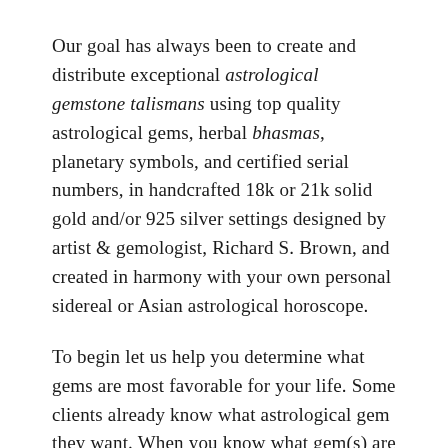Our goal has always been to create and distribute exceptional astrological gemstone talismans using top quality astrological gems, herbal bhasmas, planetary symbols, and certified serial numbers, in handcrafted 18k or 21k solid gold and/or 925 silver settings designed by artist & gemologist, Richard S. Brown, and created in harmony with your own personal sidereal or Asian astrological horoscope.
To begin let us help you determine what gems are most favorable for your life. Some clients already know what astrological gem they want. When you know what gem(s) are best for you, then